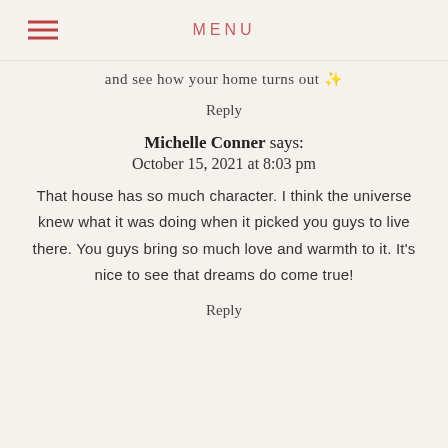MENU
and see how your home turns out ✨
Reply
Michelle Conner says:
October 15, 2021 at 8:03 pm
That house has so much character. I think the universe knew what it was doing when it picked you guys to live there. You guys bring so much love and warmth to it. It's nice to see that dreams do come true!
Reply